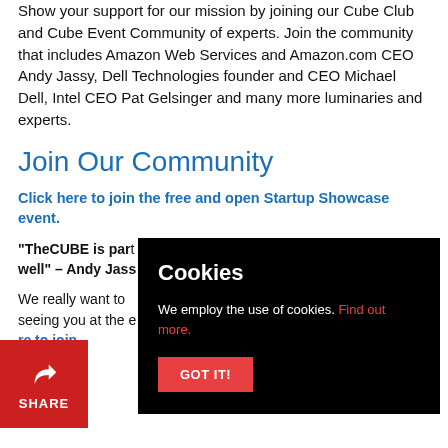Show your support for our mission by joining our Cube Club and Cube Event Community of experts. Join the community that includes Amazon Web Services and Amazon.com CEO Andy Jassy, Dell Technologies founder and CEO Michael Dell, Intel CEO Pat Gelsinger and many more luminaries and experts.
Join Our Community
Click here to join the free and open Startup Showcase event.
“TheCUBE is par[t of the coverage. TheCUBE is] part of the event[.] [I love] here and I know p[eople do] well” – Andy Jas[sy]
We really want to [have you] seeing you at the e[vent.]
[Click he]re to join
[Figure (other): Cookie consent popup overlay with black background, 'Cookies' title, text 'We employ the use of cookies. Find out more.' with red link, and a red 'GOT IT!' button]
[Figure (other): Red share button with arrow/share icon and 'SHARE' label in bottom left corner]